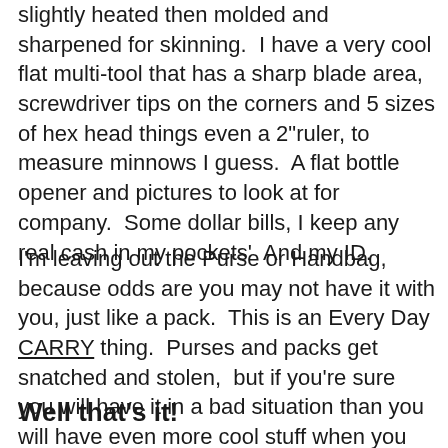slightly heated then molded and sharpened for skinning.  I have a very cool flat multi-tool that has a sharp blade area, screwdriver tips on the corners and 5 sizes of hex head things even a 2"ruler, to measure minnows I guess.  A flat bottle opener and pictures to look at for company.  Some dollar bills, I keep any real cash in my pockets'  And my ID.
I'm leaving out the Purse or Handbag, because odds are you may not have it with you, just like a pack.  This is an Every Day CARRY thing.  Purses and packs get snatched and stolen,  but if you're sure you will have it in a bad situation than you will have even more cool stuff when you need it.
Well that's it!